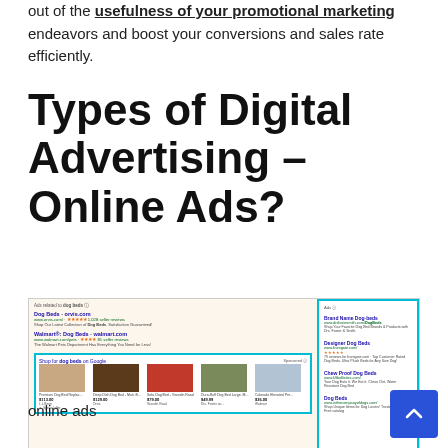out of the usefulness of your promotional marketing endeavors and boost your conversions and sales rate efficiently.
Types of Digital Advertising – Online Ads?
[Figure (screenshot): Screenshot of Google search results for 'dog beds' showing sponsored ads on left (Dog Beds - orvis.com, Walmart® Dog Beds - walmart.com) and shopping ads with product images, as well as right-side brand ads (Brand Name Dog-beds, Designer Dog Beds, Chew Proof Dog Beds, Dog Beds).]
online ads